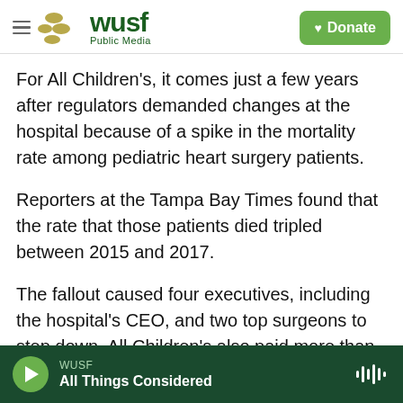[Figure (logo): WUSF Public Media logo with hamburger menu and green Donate button]
For All Children's, it comes just a few years after regulators demanded changes at the hospital because of a spike in the mortality rate among pediatric heart surgery patients.
Reporters at the Tampa Bay Times found that the rate that those patients died tripled between 2015 and 2017.
The fallout caused four executives, including the hospital's CEO, and two top surgeons to step down. All Children's also paid more than $40 million in settlements to at least four families.
WUSF — All Things Considered (audio player bar)